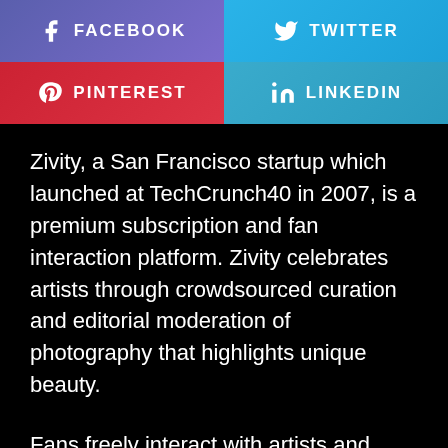[Figure (infographic): Four social media share buttons in a 2x2 grid: Facebook (purple-blue gradient), Twitter (light blue gradient), Pinterest (red gradient), LinkedIn (teal/sky blue gradient), each with icon and label text in white uppercase letters.]
Zivity, a San Francisco startup which launched at TechCrunch40 in 2007, is a premium subscription and fan interaction platform. Zivity celebrates artists through crowdsourced curation and editorial moderation of photography that highlights unique beauty.
Fans freely interact with artists and support their favorite artists through microdonations and recurring monthly support. In July 2009